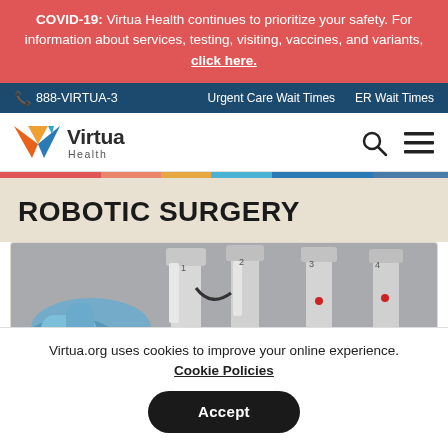COVID-19: Virtua Health continues to prioritize your safety. For information about services, testing, visiting, vaccines, and variants, click here.
888-VIRTUA-3  Urgent Care Wait Times  ER Wait Times
[Figure (logo): Virtua Health logo with colorful V chevron mark and wordmark]
ROBOTIC SURGERY
[Figure (photo): Robotic surgery equipment with surgical robot arms and a surgeon in scrubs]
Virtua.org uses cookies to improve your online experience. Cookie Policies
Accept